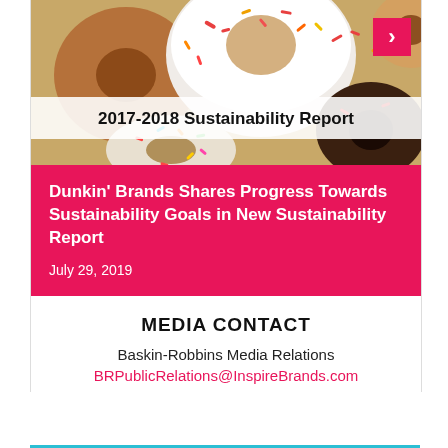[Figure (photo): Close-up photo of assorted donuts including glazed, frosted with sprinkles, and chocolate donuts. Overlaid with a semi-transparent white banner reading '2017-2018 Sustainability Report' in bold black text. A pink arrow button appears in the top-right corner.]
Dunkin' Brands Shares Progress Towards Sustainability Goals in New Sustainability Report
July 29, 2019
MEDIA CONTACT
Baskin-Robbins Media Relations
BRPublicRelations@InspireBrands.com